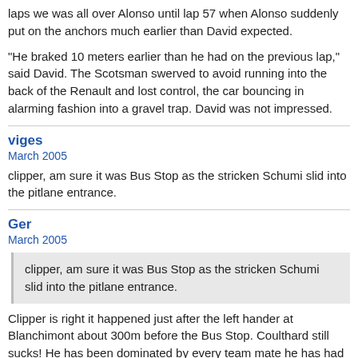laps we was all over Alonso until lap 57 when Alonso suddenly put on the anchors much earlier than David expected.
"He braked 10 meters earlier than he had on the previous lap," said David. The Scotsman swerved to avoid running into the back of the Renault and lost control, the car bouncing in alarming fashion into a gravel trap. David was not impressed.
viges
March 2005
clipper, am sure it was Bus Stop as the stricken Schumi slid into the pitlane entrance.
Ger
March 2005
clipper, am sure it was Bus Stop as the stricken Schumi slid into the pitlane entrance.
Clipper is right it happened just after the left hander at Blanchimont about 300m before the Bus Stop. Coulthard still sucks! He has been dominated by every team mate he has had CK I bet will do the same.